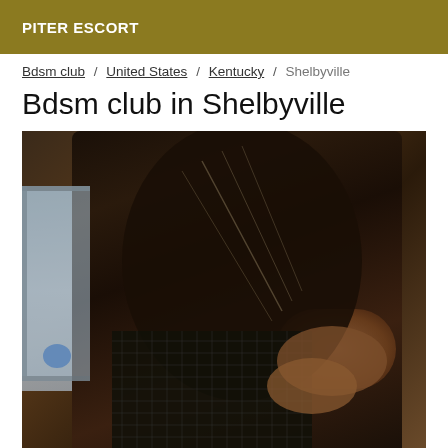PITER ESCORT
Bdsm club / United States / Kentucky / Shelbyville
Bdsm club in Shelbyville
[Figure (photo): A person wearing a dark patterned outfit with fishnet stockings, seated indoors near a window.]